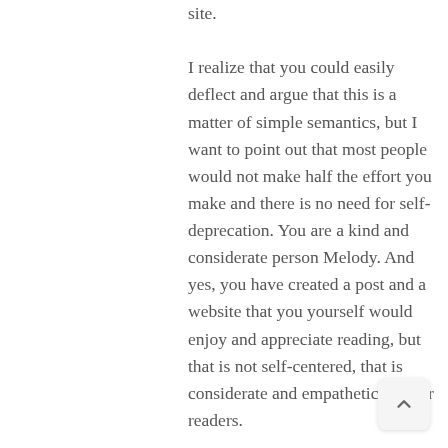site. I realize that you could easily deflect and argue that this is a matter of simple semantics, but I want to point out that most people would not make half the effort you make and there is no need for self-deprecation. You are a kind and considerate person Melody. And yes, you have created a post and a website that you yourself would enjoy and appreciate reading, but that is not self-centered, that is considerate and empathetic of your readers.